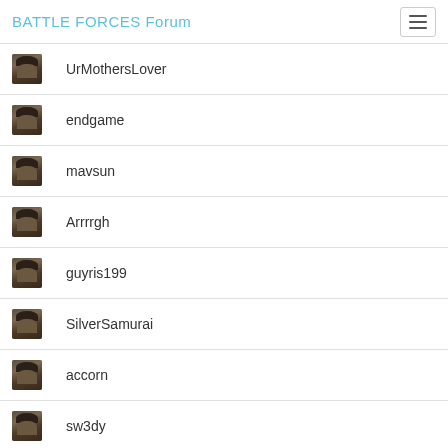BATTLE FORCES Forum
UrMothersLover
endgame
mavsun
Arrrrgh
guyris199
SilverSamurai
accorn
sw3dy